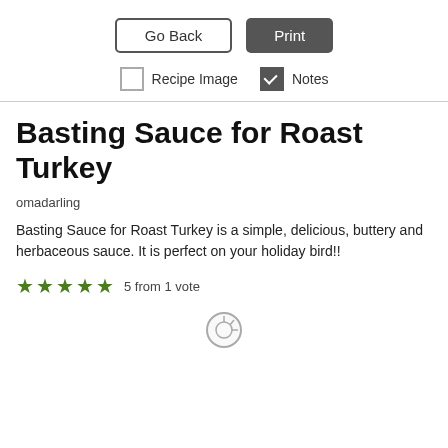[Figure (screenshot): Two buttons: 'Go Back' (outlined) and 'Print' (dark filled), with checkboxes for 'Recipe Image' (unchecked) and 'Notes' (checked)]
Basting Sauce for Roast Turkey
omadarling
Basting Sauce for Roast Turkey is a simple, delicious, buttery and herbaceous sauce. It is perfect on your holiday bird!!
5 from 1 vote